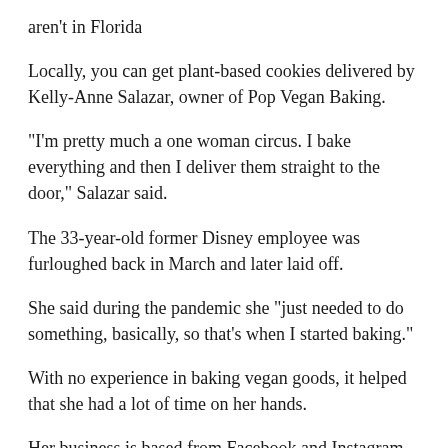aren't in Florida
Locally, you can get plant-based cookies delivered by Kelly-Anne Salazar, owner of Pop Vegan Baking.
“I’m pretty much a one woman circus. I bake everything and then I deliver them straight to the door,” Salazar said.
The 33-year-old former Disney employee was furloughed back in March and later laid off.
She said during the pandemic she “just needed to do something, basically, so that’s when I started baking.”
With no experience in baking vegan goods, it helped that she had a lot of time on her hands.
Her business is based from Facebook and Instagram.